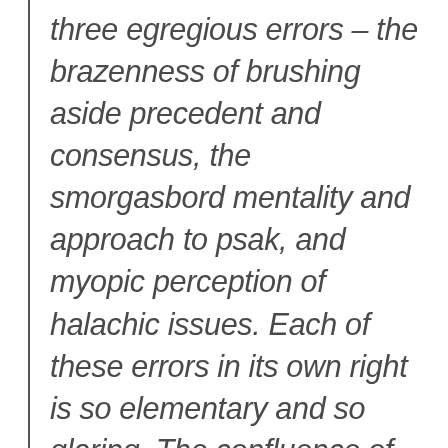three egregious errors – the brazenness of brushing aside precedent and consensus, the smorgasbord mentality and approach to psak, and myopic perception of halachic issues. Each of these errors in its own right is so elementary and so glaring. The confluence of all three within the recent “psak” regarding women and tefillin is simply mind boggling. How could this possibly come to